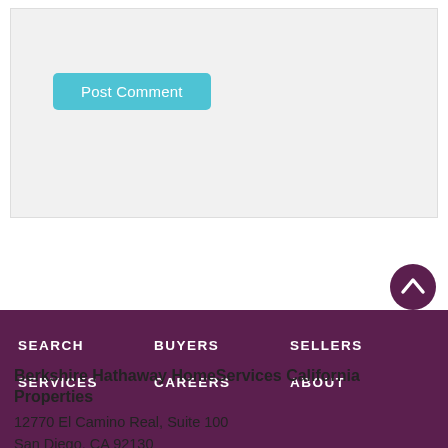[Figure (screenshot): Gray comment input box area]
Post Comment
[Figure (other): Scroll to top button - dark purple circle with upward chevron arrow]
SEARCH
BUYERS
SELLERS
SERVICES
CAREERS
ABOUT
Berkshire Hathaway HomeServices California Properties
12770 El Camino Real, Suite 100
San Diego, CA 92130